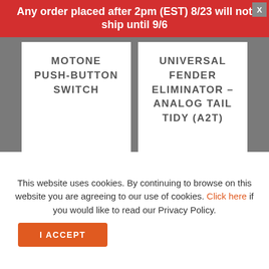Any order placed after 2pm (EST) 8/23 will not ship until 9/6
MOTONE PUSH-BUTTON SWITCH
$ 84.99 – $ 99.99
UNIVERSAL FENDER ELIMINATOR – ANALOG TAIL TIDY (A2T)
$ 369.00
This website uses cookies. By continuing to browse on this website you are agreeing to our use of cookies. Click here if you would like to read our Privacy Policy.
I ACCEPT